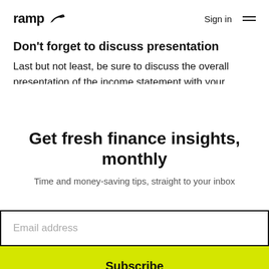ramp  Sign in
Don't forget to discuss presentation
Last but not least, be sure to discuss the overall presentation of the income statement with your
Get fresh finance insights, monthly
Time and money-saving tips, straight to your inbox
Email address
Subscribe
No, thank you